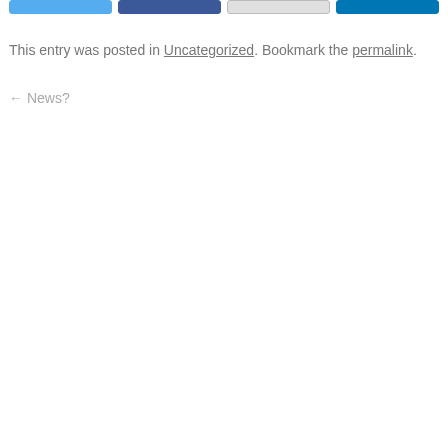[Figure (other): Row of four social sharing buttons (Twitter, Facebook, email/link, LinkedIn) with colored backgrounds and rounded borders]
This entry was posted in Uncategorized. Bookmark the permalink.
← News?